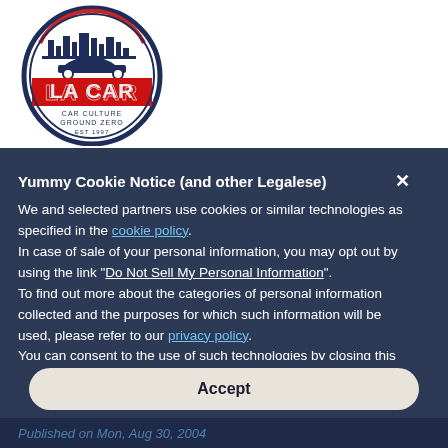[Figure (logo): LA CAR logo - circular badge with city skyline, red 'LA CAR' text, and 'CAR CULTURE GROUND ZERO EST 1997' tagline, navy blue border]
Yummy Cookie Notice (and other Legalese)
We and selected partners use cookies or similar technologies as specified in the cookie policy.
In case of sale of your personal information, you may opt out by using the link "Do Not Sell My Personal Information".
To find out more about the categories of personal information collected and the purposes for which such information will be used, please refer to our privacy policy.
You can consent to the use of such technologies by closing this notice and/or by clicking "Accept".
Accept
Published on Mon, Aug 30, 2004